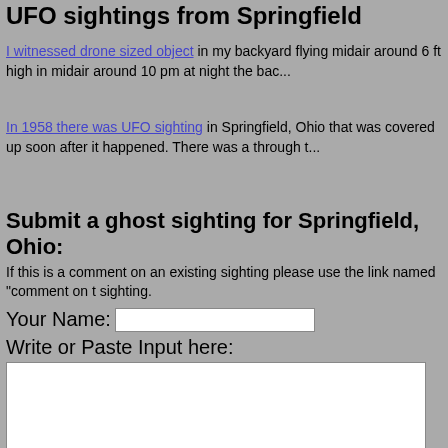UFO sightings from Springfield
I witnessed drone sized object in my backyard flying midair around 6 ft high in midair around 10 pm at night the bac...
In 1958 there was UFO sighting in Springfield, Ohio that was covered up soon after it happened. There was a through t...
Submit a ghost sighting for Springfield, Ohio:
If this is a comment on an existing sighting please use the link named "comment on t sighting.
Your Name:
Write or Paste Input here:
Upload picture: Choose File No file chosen
Submit